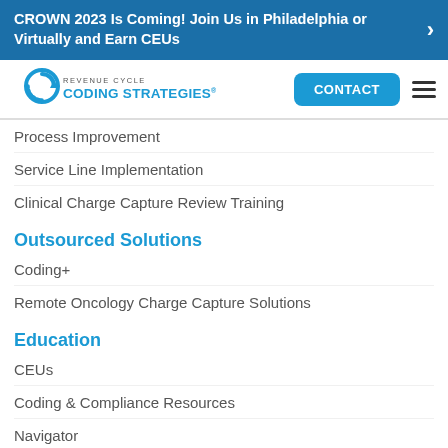CROWN 2023 Is Coming! Join Us in Philadelphia or Virtually and Earn CEUs
[Figure (logo): Revenue Cycle Coding Strategies logo with circular arrow icon]
Process Improvement
Service Line Implementation
Clinical Charge Capture Review Training
Outsourced Solutions
Coding+
Remote Oncology Charge Capture Solutions
Education
CEUs
Coding & Compliance Resources
Navigator
Client Resource Center
Onsite Training